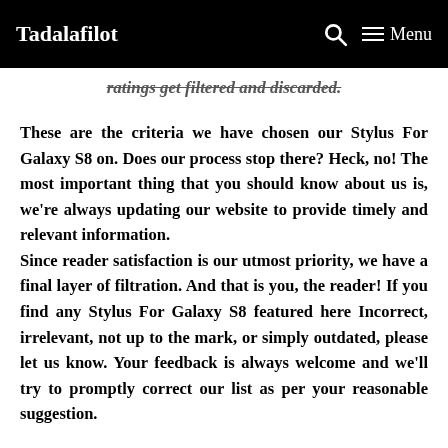Tadalafilot | Menu
ratings get filtered and discarded.
These are the criteria we have chosen our Stylus For Galaxy S8 on. Does our process stop there? Heck, no! The most important thing that you should know about us is, we're always updating our website to provide timely and relevant information. Since reader satisfaction is our utmost priority, we have a final layer of filtration. And that is you, the reader! If you find any Stylus For Galaxy S8 featured here Incorrect, irrelevant, not up to the mark, or simply outdated, please let us know. Your feedback is always welcome and we'll try to promptly correct our list as per your reasonable suggestion.